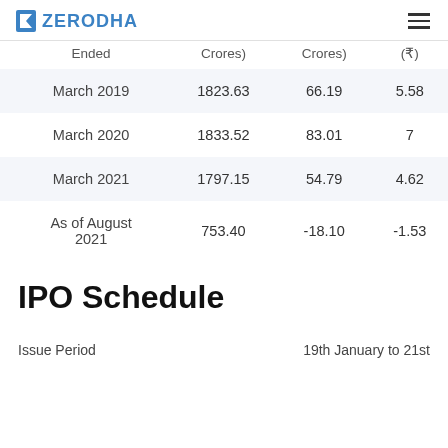ZERODHA
| Ended | Crores) | Crores) | (₹) |
| --- | --- | --- | --- |
| March 2019 | 1823.63 | 66.19 | 5.58 |
| March 2020 | 1833.52 | 83.01 | 7 |
| March 2021 | 1797.15 | 54.79 | 4.62 |
| As of August 2021 | 753.40 | -18.10 | -1.53 |
IPO Schedule
Issue Period   19th January to 21st